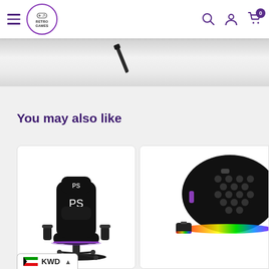[Figure (screenshot): Retro Games website navigation bar with hamburger menu, circular logo with gamepad icon and text 'RETRO GAMES', search icon, user icon, and cart icon with badge '0']
[Figure (photo): Partial banner image showing a pen or stylus on a grey/silver gradient background]
You may also like
[Figure (photo): Gaming chair with PlayStation logo, black leather with purple accent lighting, on a white background]
[Figure (photo): Black gaming mouse with honeycomb design and RGB rainbow lighting, with small USB dongle]
KWD